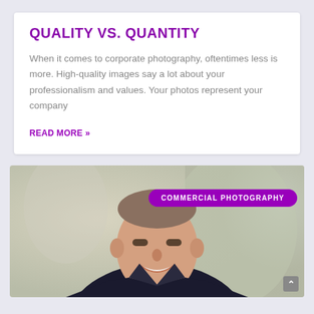QUALITY VS. QUANTITY
When it comes to corporate photography, oftentimes less is more. High-quality images say a lot about your professionalism and values. Your photos represent your company
READ MORE »
[Figure (photo): Professional headshot of a man in a dark suit and blue tie, smiling, with a blurred background. Overlaid with a purple pill-shaped badge reading 'COMMERCIAL PHOTOGRAPHY'.]